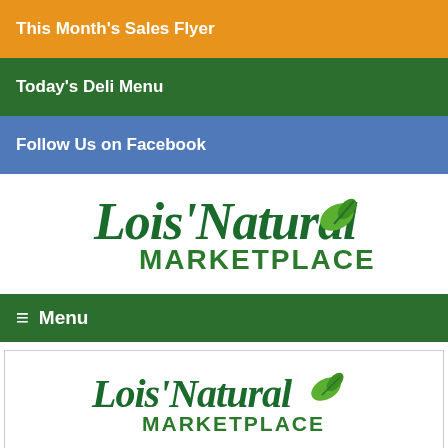This Month's Sales Flyer
Today's Deli Menu
Follow Us on Facebook
[Figure (logo): Lois' Natural Marketplace logo with green leaf]
≡ Menu
[Figure (infographic): Lois' Natural Marketplace logo with 'FROM OUR DELI → TO GO' banner and cursive 'Our curbside...' text below]